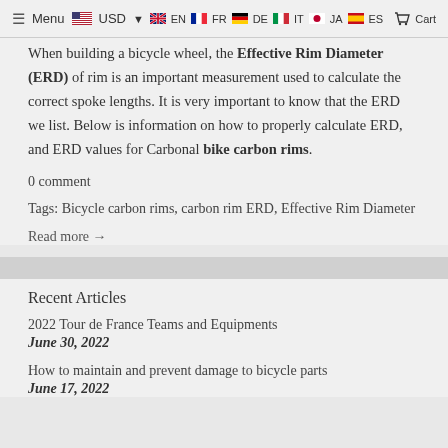Menu USD EN FR DE IT JA ES Cart
When building a bicycle wheel, the Effective Rim Diameter (ERD) of rim is an important measurement used to calculate the correct spoke lengths. It is very important to know that the ERD we list. Below is information on how to properly calculate ERD, and ERD values for Carbonal bike carbon rims.
0 comment
Tags: Bicycle carbon rims, carbon rim ERD, Effective Rim Diameter
Read more →
Recent Articles
2022 Tour de France Teams and Equipments
June 30, 2022
How to maintain and prevent damage to bicycle parts
June 17, 2022